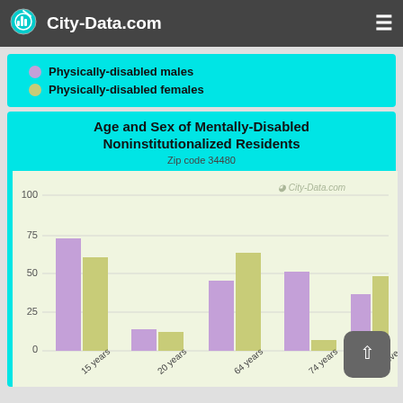City-Data.com
[Figure (other): Legend showing Physically-disabled males (purple dot) and Physically-disabled females (yellow-green dot)]
[Figure (grouped-bar-chart): Age and Sex of Mentally-Disabled Noninstitutionalized Residents]